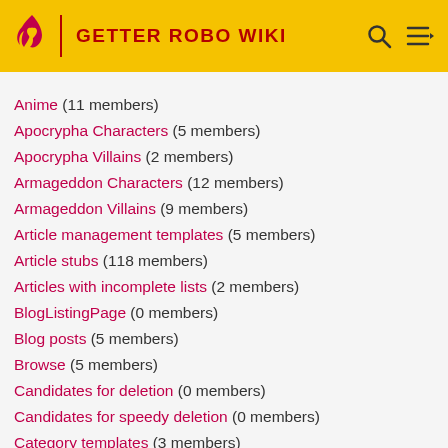GETTER ROBO WIKI
Anime (11 members)
Apocrypha Characters (5 members)
Apocrypha Villains (2 members)
Armageddon Characters (12 members)
Armageddon Villains (9 members)
Article management templates (5 members)
Article stubs (118 members)
Articles with incomplete lists (2 members)
BlogListingPage (0 members)
Blog posts (5 members)
Browse (5 members)
Candidates for deletion (0 members)
Candidates for speedy deletion (0 members)
Category templates (3 members)
Characters (174 members)
Common Attacks (6 members)
Community (6 members)
Companies (2 members)
Content (4 members)
Copyright (0 members)
Crossovers (7 members)